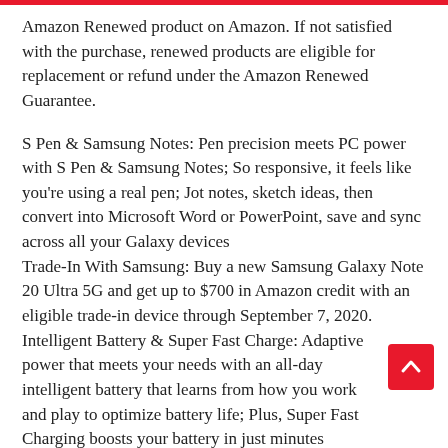Amazon Renewed product on Amazon. If not satisfied with the purchase, renewed products are eligible for replacement or refund under the Amazon Renewed Guarantee.
S Pen & Samsung Notes: Pen precision meets PC power with S Pen & Samsung Notes; So responsive, it feels like you're using a real pen; Jot notes, sketch ideas, then convert into Microsoft Word or PowerPoint, save and sync across all your Galaxy devices
Trade-In With Samsung: Buy a new Samsung Galaxy Note 20 Ultra 5G and get up to $700 in Amazon credit with an eligible trade-in device through September 7, 2020.
Intelligent Battery & Super Fast Charge: Adaptive power that meets your needs with an all-day intelligent battery that learns from how you work and play to optimize battery life; Plus, Super Fast Charging boosts your battery in just minutes
Display & Gaming: The best Galaxy mobile gaming and display experience yet; With a breathtaking screen refresh rate,